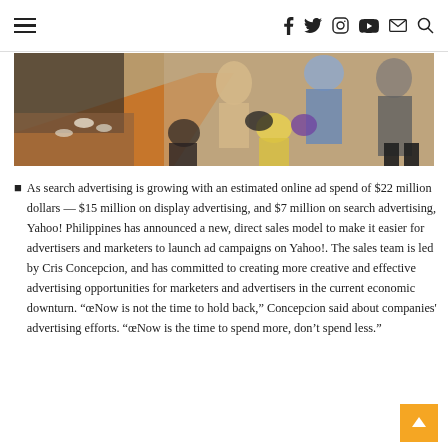Navigation bar with hamburger menu and social icons: f, twitter, instagram, youtube, email, search
[Figure (photo): Overhead/angled photo of people sitting at a counter or desk area, some using phones or tablets, with wooden furniture visible]
As search advertising is growing with an estimated online ad spend of $22 million dollars — $15 million on display advertising, and $7 million on search advertising, Yahoo! Philippines has announced a new, direct sales model to make it easier for advertisers and marketers to launch ad campaigns on Yahoo!. The sales team is led by Cris Concepcion, and has committed to creating more creative and effective advertising opportunities for marketers and advertisers in the current economic downturn. “œNow is not the time to hold back,”� Concepcion said about companies' advertising efforts. “œNow is the time to spend more, don't spend less.”�